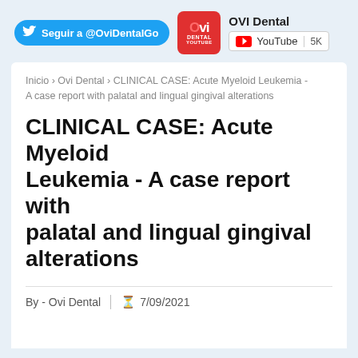[Figure (logo): OVI Dental YouTube logo - red square with OVI DENTAL YOUTUBE text]
OVI Dental
Seguir a @OviDentalGo
YouTube 5K
Inicio › Ovi Dental › CLINICAL CASE: Acute Myeloid Leukemia - A case report with palatal and lingual gingival alterations
CLINICAL CASE: Acute Myeloid Leukemia - A case report with palatal and lingual gingival alterations
By - Ovi Dental  |  ⏰ 7/09/2021